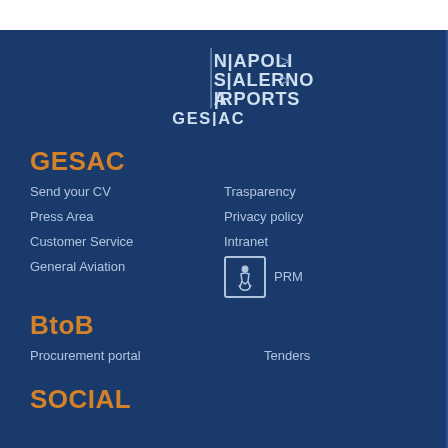[Figure (logo): NAPOLI SALERNO AIRPORTS GESAC logo in white on dark blue background]
GESAC
Send your CV
Trasparency
Press Area
Privacy policy
Customer Service
Intranet
General Aviation
PRM
BtoB
Procurement portal
Tenders
SOCIAL